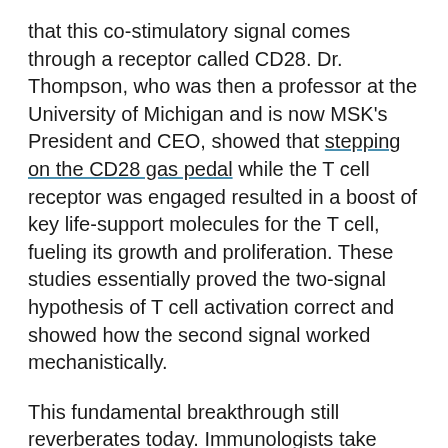that this co-stimulatory signal comes through a receptor called CD28. Dr. Thompson, who was then a professor at the University of Michigan and is now MSK's President and CEO, showed that stepping on the CD28 gas pedal while the T cell receptor was engaged resulted in a boost of key life-support molecules for the T cell, fueling its growth and proliferation. These studies essentially proved the two-signal hypothesis of T cell activation correct and showed how the second signal worked mechanistically.
This fundamental breakthrough still reverberates today. Immunologists take advantage of this knowledge, for example, when they build genetically engineered immune cells to specifically recognize cancer. Called chimeric antigen receptor (CAR) T cells, these engineered immune cells incorporate the CD28 co-